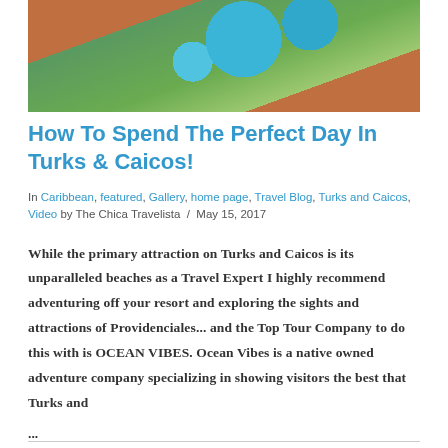[Figure (photo): Aerial view of a resort in Turks and Caicos showing pools, landscaping, and terracotta rooftops from above]
How To Spend The Perfect Day In Turks & Caicos!
In Caribbean, featured, Gallery, home page, Travel Blog, Turks and Caicos, Video by The Chica Travelista / May 15, 2017
While the primary attraction on Turks and Caicos is its unparalleled beaches as a Travel Expert I highly recommend adventuring off your resort and exploring the sights and attractions of Providenciales... and the Top Tour Company to do this with is OCEAN VIBES. Ocean Vibes is a native owned adventure company specializing in showing visitors the best that Turks and ...